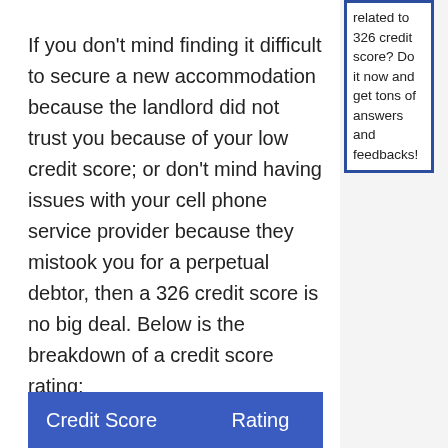related to 326 credit score? Do it now and get tons of answers and feedbacks!
If you don't mind finding it difficult to secure a new accommodation because the landlord did not trust you because of your low credit score; or don't mind having issues with your cell phone service provider because they mistook you for a perpetual debtor, then a 326 credit score is no big deal. Below is the breakdown of a credit score rating:
| Credit Score | Rating |
| --- | --- |